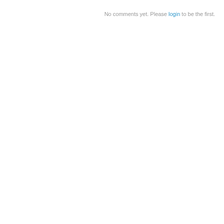No comments yet. Please login to be the first.